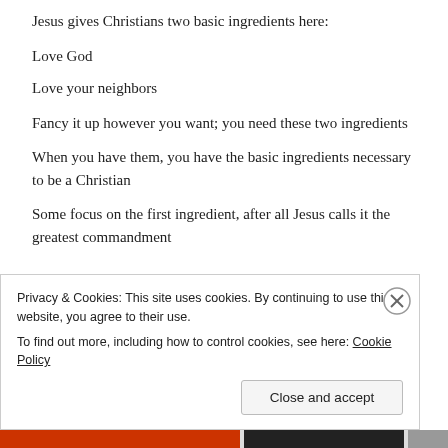Jesus gives Christians two basic ingredients here:
Love God
Love your neighbors
Fancy it up however you want; you need these two ingredients
When you have them, you have the basic ingredients necessary to be a Christian
Some focus on the first ingredient, after all Jesus calls it the greatest commandment
Privacy & Cookies: This site uses cookies. By continuing to use this website, you agree to their use.
To find out more, including how to control cookies, see here: Cookie Policy
Close and accept